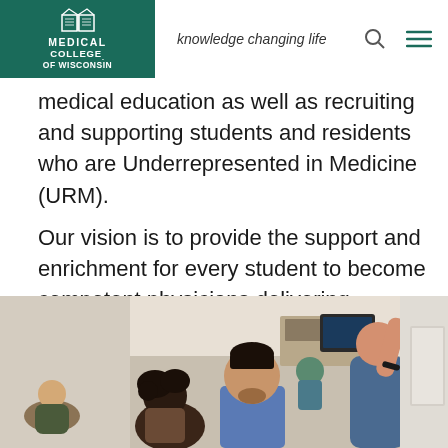Medical College of Wisconsin — knowledge changing life
medical education as well as recruiting and supporting students and residents who are Underrepresented in Medicine (URM).
Our vision is to provide the support and enrichment for every student to become competent physicians delivering culturally compassionate and competent patient-centered care.
LEARN MORE
[Figure (photo): Group of diverse medical students in a clinical learning lab setting, engaged in hands-on learning activities.]